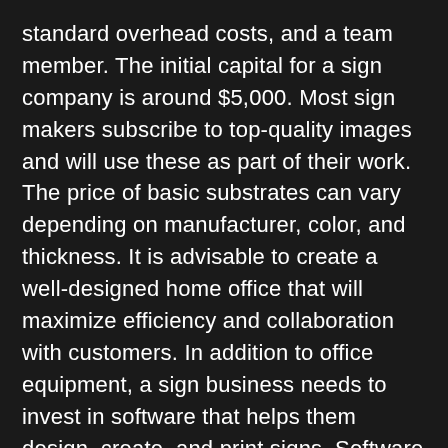standard overhead costs, and a team member. The initial capital for a sign company is around $5,000. Most sign makers subscribe to top-quality images and will use these as part of their work. The price of basic substrates can vary depending on manufacturer, color, and thickness. It is advisable to create a well-designed home office that will maximize efficiency and collaboration with customers. In addition to office equipment, a sign business needs to invest in software that helps them design, create, and print signs. Software that enables you to design signs is typically $200 to $5,000.